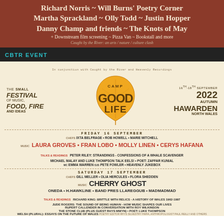Richard Norris ~ Will Burns' Poetry Corner Martha Sprackland ~ Olly Todd ~ Justin Hopper Danny Champ and friends ~ The Knots of May
+ Downstream film screening ~ Pizza Van ~ Bookstall and more
Caught by the River: an arts / nature / culture clash
CBTR EVENT
[Figure (infographic): Camp Good Life festival poster - The Small Festival of Music, Food, Fire and Ideas. 16th-18th September 2022 Autumn Hawarden North Wales. In conjunction with Caught by the River and Heavenly Recordings. Lineup includes Friday 16 September: Chefs IXTA BELFRAGE, ROB HOWELL, MARIE MITCHELL. Music LAURA GROVES, FRAN LOBO, MOLLY LINEN, CERYS HAFANA. Talks & Readings PETER RILEY: STRANDINGS - CONFESSIONS OF A WHALE SCAVENGER, MICHAEL MALAY AND LUKE THOMPSON TALK EELS!, POET: ZAFFAR KUNIAL. MC EMMA WARREN DJs PETE FOWLER, HEAVENLY JUKEBOX. Saturday 17 September: Chefs GILL MELLER, OLIA HERCULES, FLORA SHEDDEN. Music CHERRY GHOST, ONEDA, H.HAWKLINE, BAND PRES LLAREGGUB, MADMADMAD. Talks & Readings RICHARD KING: BRITTLE WITH RELICS - A HISTORY OF WALES 1962-1997, JUDE ROGERS: THE SOUND OF BEING HUMAN - HOW MUSIC SHAPES OUR LIVES, RUPERT CALLENDER IN CONVERSATION WITH ROY WILKINSON. THE STONE CLUB (PLUS GUEST RHYS MWYN), POET: LUKE THOMPSON. WELSH (PLURAL): ESSAYS ON THE FUTURE OF WALES.]